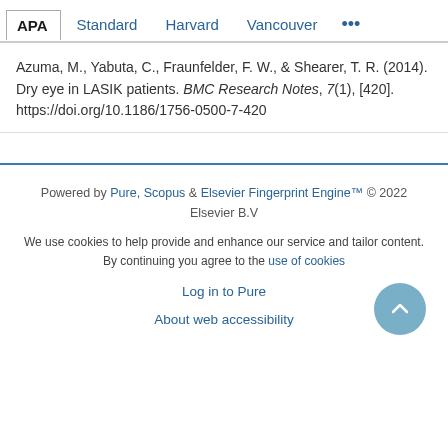APA | Standard | Harvard | Vancouver | ...
Azuma, M., Yabuta, C., Fraunfelder, F. W., & Shearer, T. R. (2014). Dry eye in LASIK patients. BMC Research Notes, 7(1), [420]. https://doi.org/10.1186/1756-0500-7-420
Powered by Pure, Scopus & Elsevier Fingerprint Engine™ © 2022 Elsevier B.V
We use cookies to help provide and enhance our service and tailor content. By continuing you agree to the use of cookies
Log in to Pure
About web accessibility